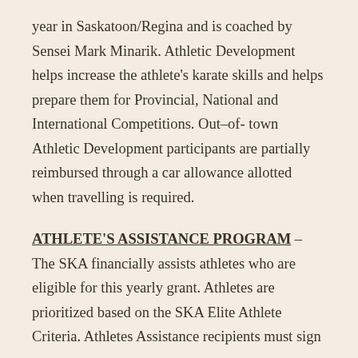year in Saskatoon/Regina and is coached by Sensei Mark Minarik. Athletic Development helps increase the athlete's karate skills and helps prepare them for Provincial, National and International Competitions. Out–of- town Athletic Development participants are partially reimbursed through a car allowance allotted when travelling is required.
ATHLETE'S ASSISTANCE PROGRAM – The SKA financially assists athletes who are eligible for this yearly grant. Athletes are prioritized based on the SKA Elite Athlete Criteria. Athletes Assistance recipients must sign an